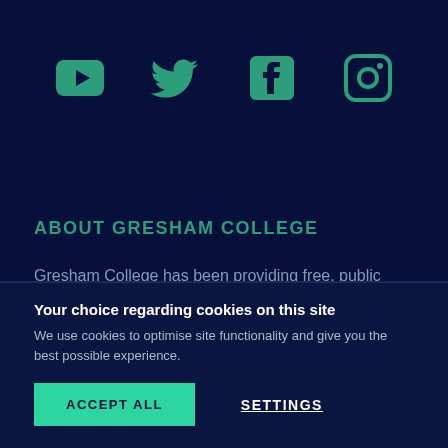[Figure (illustration): Four social media icons in teal color: YouTube, Twitter, Facebook, Instagram]
ABOUT GRESHAM COLLEGE
Gresham College has been providing free, public lectures since 1597. Registered charity: 1039962.
Your choice regarding cookies on this site
We use cookies to optimise site functionality and give you the best possible experience.
ACCEPT ALL
SETTINGS